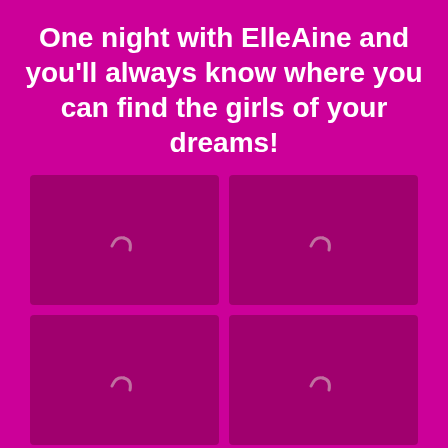One night with ElleAine and you'll always know where you can find the girls of your dreams!
[Figure (photo): Grid of 6 image placeholders (4 loading spinners, 2 actual photos of women) on magenta background]